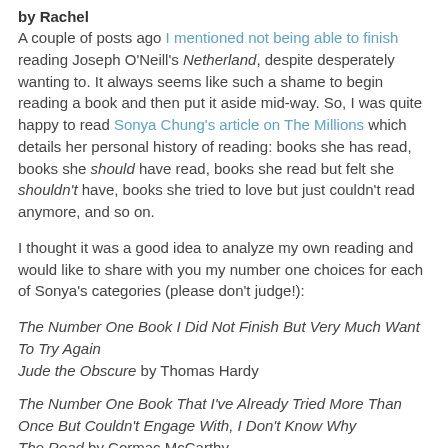by Rachel
A couple of posts ago I mentioned not being able to finish reading Joseph O'Neill's Netherland, despite desperately wanting to. It always seems like such a shame to begin reading a book and then put it aside mid-way. So, I was quite happy to read Sonya Chung's article on The Millions which details her personal history of reading: books she has read, books she should have read, books she read but felt she shouldn't have, books she tried to love but just couldn't read anymore, and so on.
I thought it was a good idea to analyze my own reading and would like to share with you my number one choices for each of Sonya's categories (please don't judge!):
The Number One Book I Did Not Finish But Very Much Want To Try Again
Jude the Obscure by Thomas Hardy
The Number One Book That I've Already Tried More Than Once But Couldn't Engage With, I Don't Know Why
The Road by Cormac McCarthy